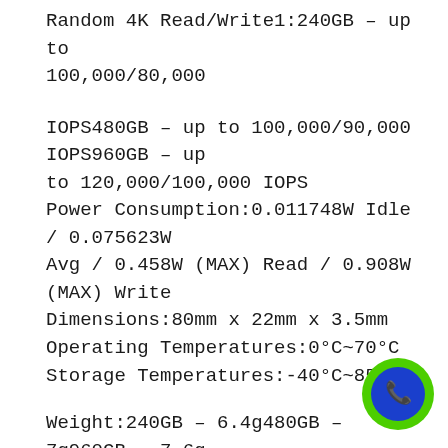Random 4K Read/Write1:240GB – up to 100,000/80,000
IOPS480GB – up to 100,000/90,000 IOPS960GB – up to 120,000/100,000 IOPS
Power Consumption:0.011748W Idle / 0.075623W Avg / 0.458W (MAX) Read / 0.908W (MAX) Write
Dimensions:80mm x 22mm x 3.5mm
Operating Temperatures:0°C~70°C
Storage Temperatures:-40°C~85°C
Weight:240GB – 6.4g480GB – 7g960GB – 7.6g
Vibration Operating:2.17G Peak (7−800Hz)
Vibration Non-Operating:20G Peak (10−2000H
Life Expectancy: 1 million hours MTBF
Warranty/Support3:Limited 5-year warranty with
[Figure (illustration): Green circular phone button with a blue inner circle containing a white phone handset icon, positioned in the bottom-right corner.]